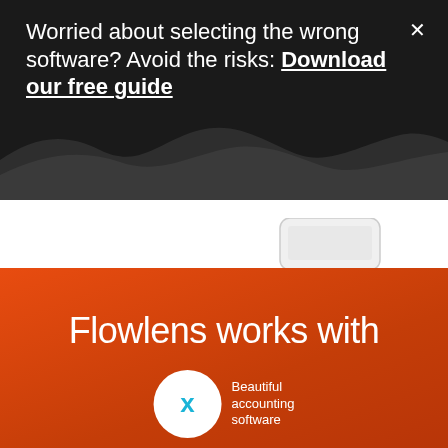Worried about selecting the wrong software? Avoid the risks: Download our free guide
[Figure (screenshot): Device/phone screenshot partially visible at the boundary between white and orange sections]
Flowlens works with
[Figure (logo): Xero logo — white circle with blue/teal X mark, beside text 'Beautiful accounting software']